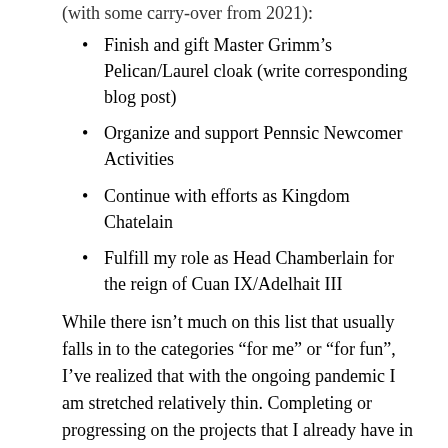(with some carry-over from 2021):
Finish and gift Master Grimm’s Pelican/Laurel cloak (write corresponding blog post)
Organize and support Pennsic Newcomer Activities
Continue with efforts as Kingdom Chatelain
Fulfill my role as Head Chamberlain for the reign of Cuan IX/Adelhait III
While there isn’t much on this list that usually falls in to the categories “for me” or “for fun”, I’ve realized that with the ongoing pandemic I am stretched relatively thin. Completing or progressing on the projects that I already have in motion is much more manageable than attempting to take on anything new. It’s a rather sad admission, but I remain hopeful that I can find fun and creative outlets when I have more bandwidth in the future.